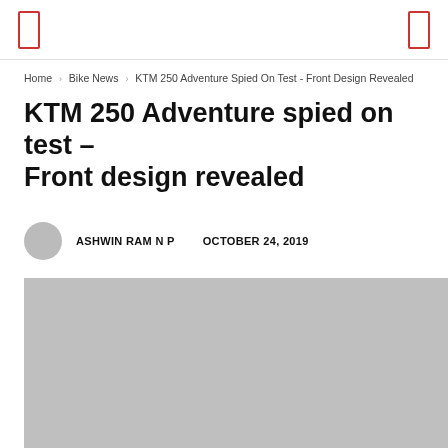Home › Bike News › KTM 250 Adventure Spied On Test - Front Design Revealed
KTM 250 Adventure spied on test – Front design revealed
ASHWIN RAM N P   OCTOBER 24, 2019
[Figure (photo): Gray placeholder image for KTM 250 Adventure article]